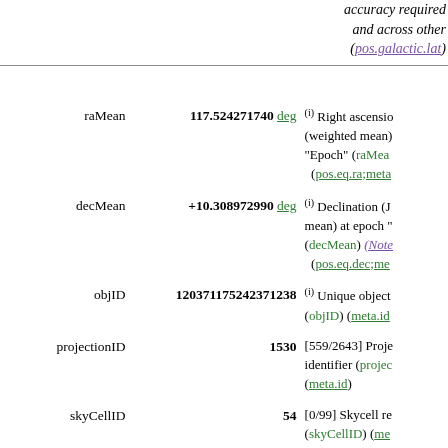accuracy required and across other (pos.galactic.lat)
| Name | Value | Description |
| --- | --- | --- |
| raMean | 117.524271740 deg | (i) Right ascension (weighted mean) "Epoch" (raMean) (pos.eq.ra;meta...) |
| decMean | +10.308972990 deg | (i) Declination (J mean) at epoch "" (decMean) (Note) (pos.eq.dec;me...) |
| objID | 120371175242371238 | (i) Unique object (objID) (meta.id...) |
| projectionID | 1530 | [559/2643] Projection identifier (projec...) (meta.id) |
| skyCellID | 54 | [0/99] Skycell re... (skyCellID) (me...) |
| objInfoFlag | 436363264 | Information flag indicating details photometry (obj...) (Binary flag exp...) |